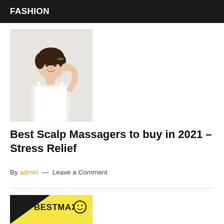FASHION
[Figure (photo): Woman in white tank top touching her hair/scalp, smiling, on light background]
Best Scalp Massagers to buy in 2021 – Stress Relief
By admin — Leave a Comment
[Figure (logo): BESTMAXI logo with smiley face on yellow and black background]